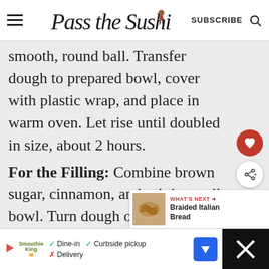Pass the Sushi — SUBSCRIBE
smooth, round ball. Transfer dough to prepared bowl, cover with plastic wrap, and place in warm oven. Let rise until doubled in size, about 2 hours.
For the Filling: Combine brown sugar, cinnamon, and salt in small bowl. Turn dough out onto
[Figure (other): What's Next panel showing Braided Italian Bread thumbnail with label and title]
[Figure (other): Advertisement banner with Smoothie King logo, Dine-in checkmark, Curbside pickup checkmark, Delivery X, navigation arrow icon, and dark corner close button]